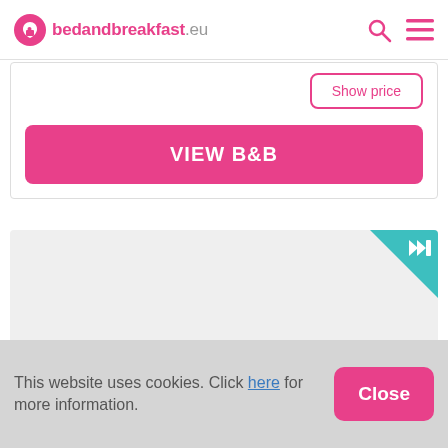bedandbreakfast.eu
Show price
VIEW B&B
[Figure (screenshot): Gray listing card placeholder with teal corner badge containing a fast-forward/skip icon]
This website uses cookies. Click here for more information.
Close